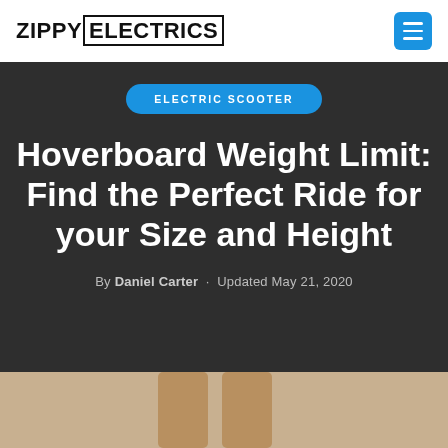ZIPPY ELECTRICS
ELECTRIC SCOOTER
Hoverboard Weight Limit: Find the Perfect Ride for your Size and Height
By Daniel Carter · Updated May 21, 2020
[Figure (photo): Bottom portion showing two legs, partial view, cropped at page bottom]